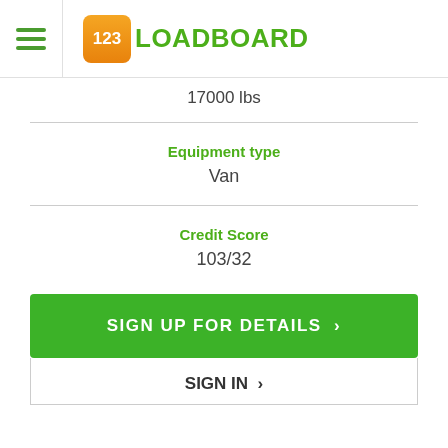123LOADBOARD
17000 lbs
Equipment type
Van
Credit Score
103/32
SIGN UP FOR DETAILS >
SIGN IN >